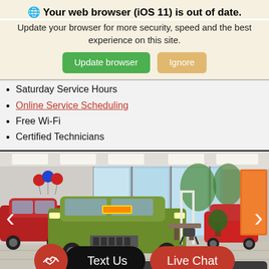Your web browser (iOS 11) is out of date.
Update your browser for more security, speed and the best experience on this site.
Saturday Service Hours
Online Service Scheduling
Free Wi-Fi
Certified Technicians
[Figure (photo): Car dealership showroom interior with green Jeep Renegade and red car, large windows, balloons, seating area]
Text Us
Live Chat